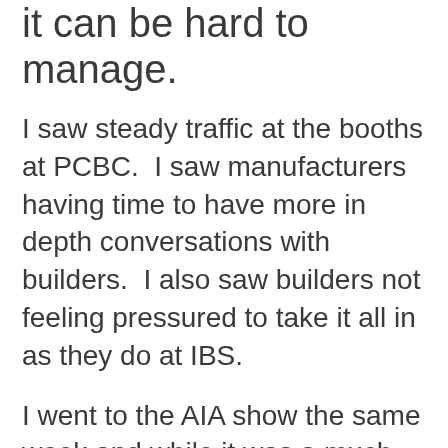it can be hard to manage.
I saw steady traffic at the booths at PCBC.  I saw manufacturers having time to have more in depth conversations with builders.  I also saw builders not feeling pressured to take it all in as they do at IBS.
I went to the AIA show the same week and while it was a much larger show, there was almost no traffic in the booths.  If your product is residential, I would much rather be at PCBC than AIA.
When I asked several of my clients